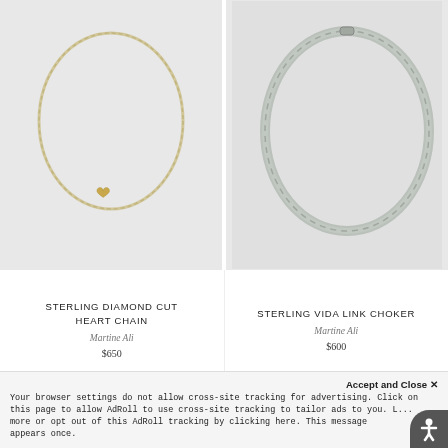[Figure (photo): Gold heart pendant necklace on gray background — STERLING DIAMOND CUT HEART CHAIN product photo]
[Figure (photo): Silver curb link choker bracelet on gray background — STERLING VIDA LINK CHOKER product photo]
STERLING DIAMOND CUT HEART CHAIN
Martine Ali
$650
STERLING VIDA LINK CHOKER
Martine Ali
$600
Accept and Close ✕
Your browser settings do not allow cross-site tracking for advertising. Click on this page to allow AdRoll to use cross-site tracking to tailor ads to you. L... more or opt out of this AdRoll tracking by clicking here. This message appears once.